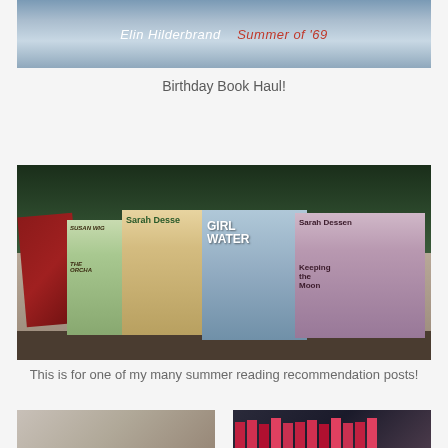[Figure (photo): Close-up photo of a book spine showing 'Elin Hilderbrand Summer of 69' text on a light blue/white book]
Birthday Book Haul!
[Figure (photo): Photo of several books propped up outdoors against foliage and a stone ledge, including books by Sarah Dessen (Girl Water, Keeping the Moon), Susan Wigg (The Orchard), and other titles]
This is for one of my many summer reading recommendation posts!
[Figure (photo): Bottom left partial photo - appears to show a table or surface]
[Figure (photo): Bottom right partial photo - appears to show multiple red/pink books stacked or arranged]